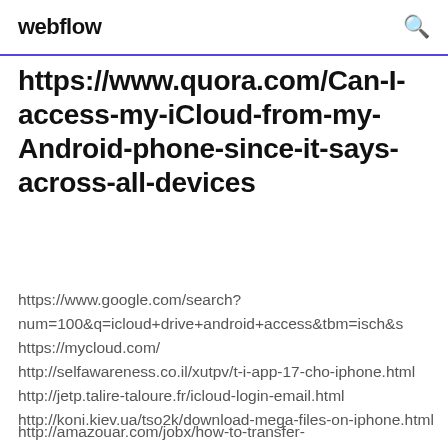webflow
https://www.quora.com/Can-I-access-my-iCloud-from-my-Android-phone-since-it-says-across-all-devices
https://www.google.com/search?num=100&q=icloud+drive+android+access&tbm=isch&s https://mycloud.com/ http://selfawareness.co.il/xutpv/t-i-app-17-cho-iphone.html http://jetp.talire-taloure.fr/icloud-login-email.html http://koni.kiev.ua/tso2k/download-mega-files-on-iphone.html
http://amazouar.com/jobx/how-to-transfer-